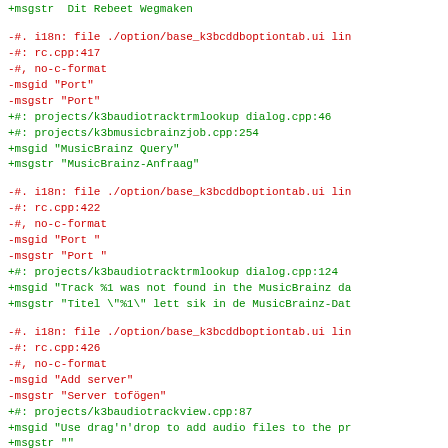+msgstr  Dit Rebeet Wegmaken
-#. i18n: file ./option/base_k3bcddboptiontab.ui lin
-#: rc.cpp:417
-#, no-c-format
-msgid "Port"
-msgstr "Port"
+#: projects/k3baudiotracktrmlookup dialog.cpp:46
+#: projects/k3bmusicbrainzjob.cpp:254
+msgid "MusicBrainz Query"
+msgstr "MusicBrainz-Anfraag"
-#. i18n: file ./option/base_k3bcddboptiontab.ui lin
-#: rc.cpp:422
-#, no-c-format
-msgid "Port "
-msgstr "Port "
+#: projects/k3baudiotracktrmlookup dialog.cpp:124
+msgid "Track %1 was not found in the MusicBrainz da
+msgstr "Titel \"%1\" lett sik in de MusicBrainz-Dat
-#. i18n: file ./option/base_k3bcddboptiontab.ui lin
-#: rc.cpp:426
-#, no-c-format
-msgid "Add server"
-msgstr "Server tofögen"
+#: projects/k3baudiotrackview.cpp:87
+msgid "Use drag'n'drop to add audio files to the pr
+msgstr ""
+"Bruuk \"Dregen un Droppen\", wenn Du Audiodateien